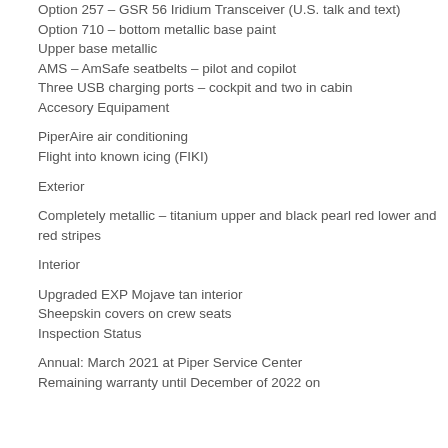Option 257 – GSR 56 Iridium Transceiver (U.S. talk and text)
Option 710 – bottom metallic base paint
Upper base metallic
AMS – AmSafe seatbelts – pilot and copilot
Three USB charging ports – cockpit and two in cabin
Accesory Equipament
PiperAire air conditioning
Flight into known icing (FIKI)
Exterior
Completely metallic – titanium upper and black pearl red lower and red stripes
Interior
Upgraded EXP Mojave tan interior
Sheepskin covers on crew seats
Inspection Status
Annual: March 2021 at Piper Service Center
Remaining warranty until December of 2022 on